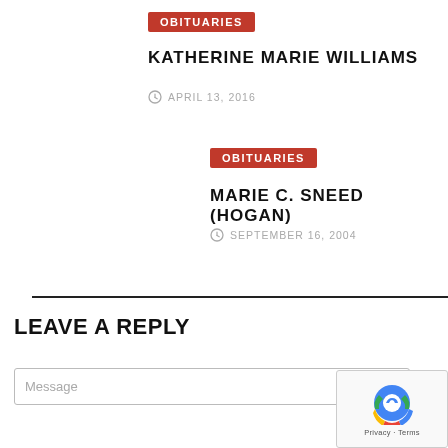OBITUARIES
KATHERINE MARIE WILLIAMS
APRIL 13, 2016
OBITUARIES
MARIE C. SNEED (HOGAN)
SEPTEMBER 16, 2004
LEAVE A REPLY
Message